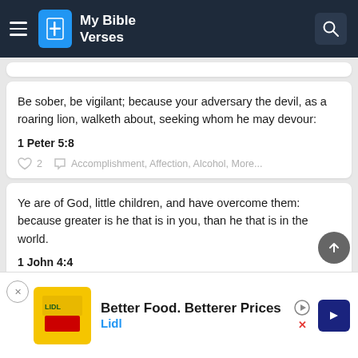My Bible Verses
Be sober, be vigilant; because your adversary the devil, as a roaring lion, walketh about, seeking whom he may devour:
1 Peter 5:8
2  Accomplishment,  Affection,  Alcohol,  More...
Ye are of God, little children, and have overcome them: because greater is he that is in you, than he that is in the world.
1 John 4:4
1  Affirmation,  Authority,  Being Watchful,  More...
And they overcame him by the blood of the Lamb, and by the word of their testimony; and they loved not their lives unto the death.
Revelation
Better Food. Betterer Prices
Lidl